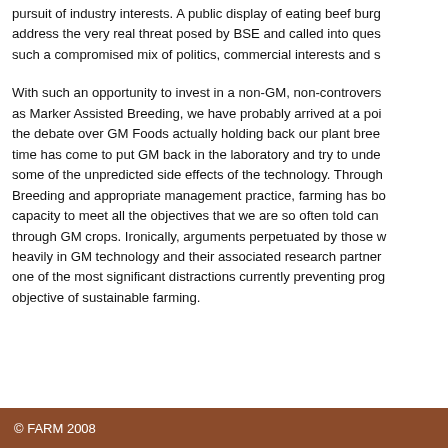pursuit of industry interests. A public display of eating beef burg... address the very real threat posed by BSE and called into ques... such a compromised mix of politics, commercial interests and s...
With such an opportunity to invest in a non-GM, non-controvers... as Marker Assisted Breeding, we have probably arrived at a poi... the debate over GM Foods actually holding back our plant bree... time has come to put GM back in the laboratory and try to unde... some of the unpredicted side effects of the technology. Through... Breeding and appropriate management practice, farming has bo... capacity to meet all the objectives that we are so often told can ... through GM crops. Ironically, arguments perpetuated by those w... heavily in GM technology and their associated research partner... one of the most significant distractions currently preventing prog... objective of sustainable farming.
© FARM 2008